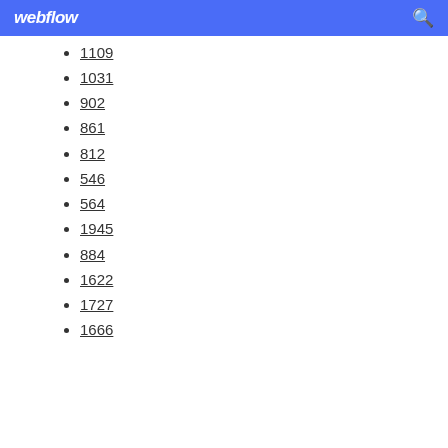webflow
1109
1031
902
861
812
546
564
1945
884
1622
1727
1666